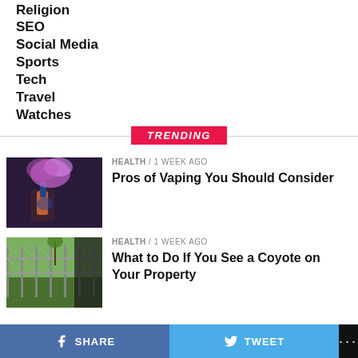Religion
SEO
Social Media
Sports
Tech
Travel
Watches
TRENDING
[Figure (photo): Person vaping with purple smoke cloud]
HEALTH / 1 week ago
Pros of Vaping You Should Consider
[Figure (photo): Chain link fence with grass and trees in background]
HEALTH / 1 week ago
What to Do If You See a Coyote on Your Property
SHARE   TWEET   ...